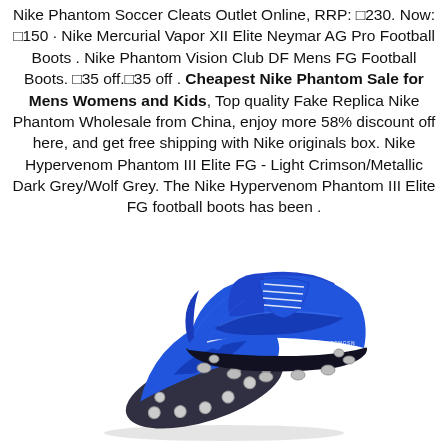Nike Phantom Soccer Cleats Outlet Online, RRP: £230. Now: £150 · Nike Mercurial Vapor XII Elite Neymar AG Pro Football Boots . Nike Phantom Vision Club DF Mens FG Football Boots. £35 off. £35 off . Cheapest Nike Phantom Sale for Mens Womens and Kids, Top quality Fake Replica Nike Phantom Wholesale from China, enjoy more 58% discount off here, and get free shipping with Nike originals box. Nike Hypervenom Phantom III Elite FG - Light Crimson/Metallic Dark Grey/Wolf Grey. The Nike Hypervenom Phantom III Elite FG football boots has been .
[Figure (photo): Blue Nike Phantom football cleats / soccer boots with black studs on the sole, shown from a side-angled view against a white background.]